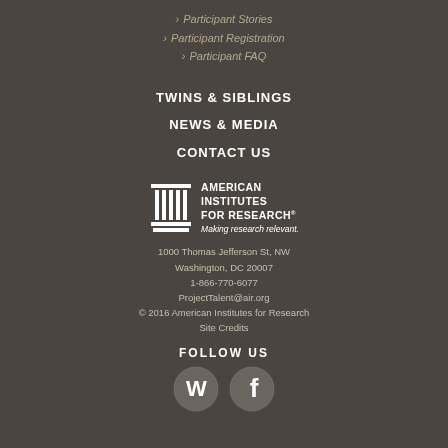› Participant Stories
› Participant Registration
› Participant FAQ
TWINS & SIBLINGS
NEWS & MEDIA
CONTACT US
[Figure (logo): American Institutes for Research logo with columns icon and tagline 'Making research relevant.']
1000 Thomas Jefferson St, NW
Washington, DC 20007
1-866-770-6077
ProjectTalent@air.org
© 2016 American Institutes for Research
Site Credits
FOLLOW US
[Figure (illustration): WordPress and Facebook social media icons]